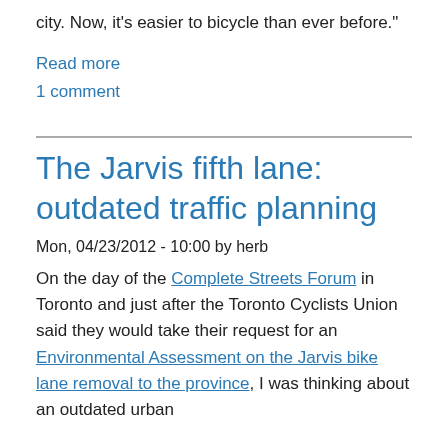city. Now, it's easier to bicycle than ever before."
Read more
1 comment
The Jarvis fifth lane: outdated traffic planning
Mon, 04/23/2012 - 10:00 by herb
On the day of the Complete Streets Forum in Toronto and just after the Toronto Cyclists Union said they would take their request for an Environmental Assessment on the Jarvis bike lane removal to the province, I was thinking about an outdated urban